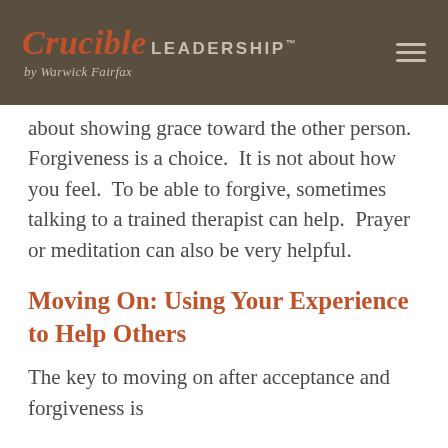Crucible LEADERSHIP™ by Warwick Fairfax
about showing grace toward the other person. Forgiveness is a choice.  It is not about how you feel.  To be able to forgive, sometimes talking to a trained therapist can help.  Prayer or meditation can also be very helpful.
Moving On: Using Your Experience to Help Others
The key to moving on after acceptance and forgiveness is